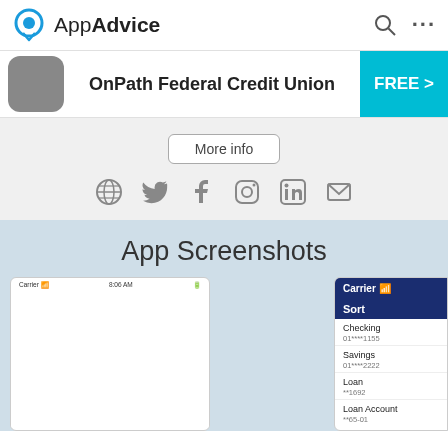AppAdvice
OnPath Federal Credit Union
FREE >
More info
[Figure (screenshot): Social media icons: globe, Twitter, Facebook, Instagram, LinkedIn, email]
App Screenshots
[Figure (screenshot): Two mobile app screenshots showing OnPath Federal Credit Union app screens]